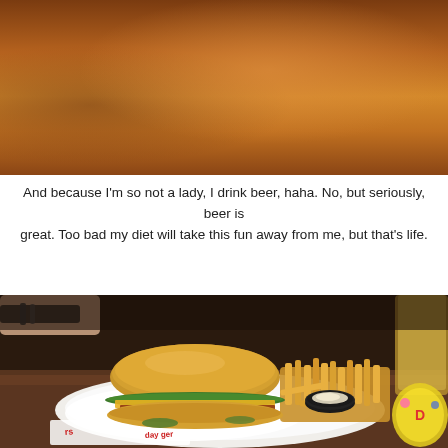[Figure (photo): Photo of a wooden table surface with warm brown tones, shot from above]
And because I'm so not a lady, I drink beer, haha. No, but seriously, beer is great. Too bad my diet will take this fun away from me, but that's life.
[Figure (photo): Photo of a burger with cheese, bacon and lettuce served with french fries and a dipping sauce on a white plate, with a glass of beer on the side. The plate sits on paper branded with a burger restaurant logo.]